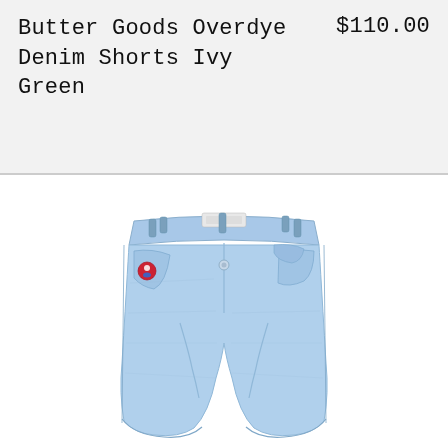Butter Goods Overdye Denim Shorts Ivy Green
$110.00
[Figure (photo): Light blue washed denim shorts with a small embroidered logo patch on the front left pocket, five-pocket style, relaxed fit, laid flat on white background.]